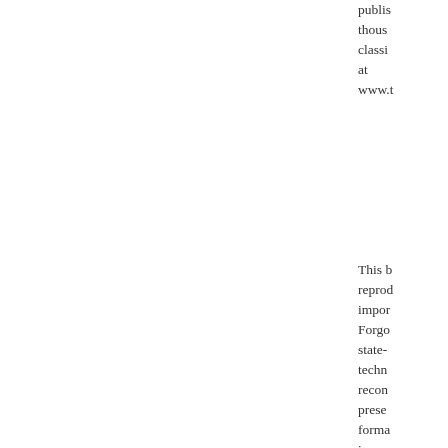publis thousands classi at www.t
This b reprod impor Forgo state- techn recon prese forma imper the ag cases the or blemis may b edition repair